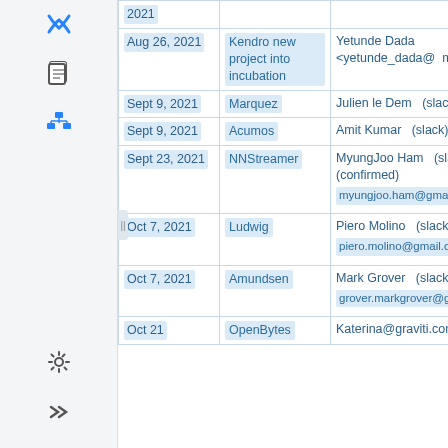| Date | Project | Contact |
| --- | --- | --- |
| 2021 |  |  |
| Aug 26, 2021 | Kendro new project into incubation | Yetunde Dada <yetunde_dada@ mcki |
| Sept 9, 2021 | Marquez | Julien le Dem  (slack) ... |
| Sept 9, 2021 | Acumos | Amit Kumar  (slack) (te |
| Sept 23, 2021 | NNStreamer | MyungJoo Ham  (slack) (confirmed)
myungjoo.ham@gmail. |
| Oct 7, 2021 | Ludwig | Piero Molino  (slack) (c
piero.molino@gmail.co |
| Oct 7, 2021 | Amundsen | Mark Grover  (slack) (c
grover.markgrover@gm |
| Oct 21 | OpenBytes | Katerina@graviti.com |